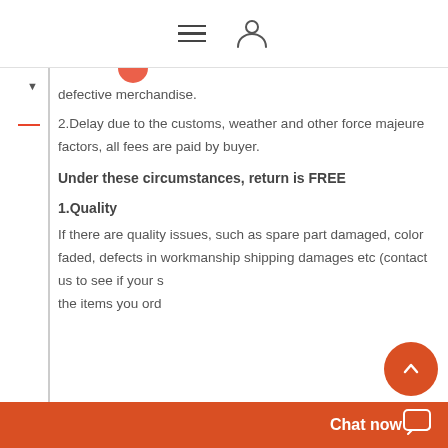Navigation header with hamburger menu and user icon
defective merchandise.
2.Delay due to the customs, weather and other force majeure factors, all fees are paid by buyer.
Under these circumstances, return is FREE
1.Quality
If there are quality issues, such as spare part damaged, color faded, defects in workmanship shipping damages etc (contact us to see if your s... the items you ord...